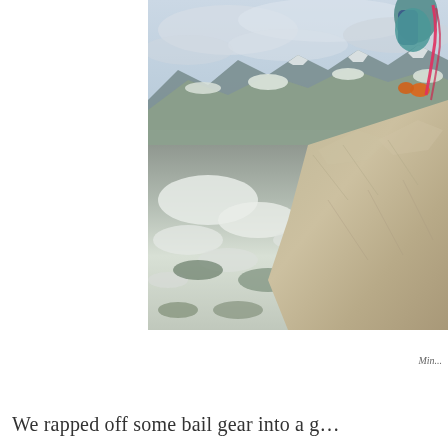[Figure (photo): A person in colorful athletic wear (teal/blue leggings, orange shoes, pink/red rope) standing or jumping on a rocky outcrop high in the mountains. Panoramic alpine scenery with snow-patched mountains, rocky peaks, and a valley below. Overcast sky with clouds. The image is partially cropped on the right side.]
Min...
We rapped off some bail gear into a g...